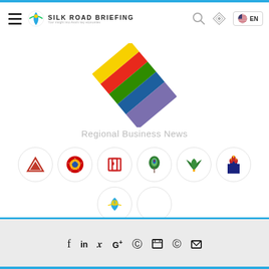Silk Road Briefing — EN
[Figure (logo): Silk Road Briefing diagonal striped diamond logo in yellow, red, green, blue/purple colors]
Regional Business News
[Figure (illustration): Eight circular icon buttons representing regional countries/news sources in two rows]
Follow and Share
[Figure (infographic): Social media share icons row: facebook, linkedin, twitter, google+, pinterest, print, reddit, email]
f  in  t  G+  P  [print]  [reddit]  [email]